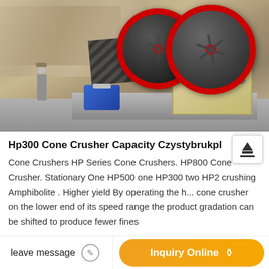[Figure (photo): Jaw crusher machine (Hp300 cone/jaw crusher) installed outdoors at a quarry site. Large flywheels with red rims are visible, a belt drive, blue motor, concrete base, and a worker standing nearby. Rocky wall in the background.]
Hp300 Cone Crusher Capacity Czystybrukpl
Cone Crushers HP Series Cone Crushers. HP800 Cone Crusher. Stationary One HP500 one HP300 two HP2 crushing Amphibolite . Higher yield By operating the h... cone crusher on the lower end of its speed range the product gradation can be shifted to produce fewer fines
leave message
Inquiry Online